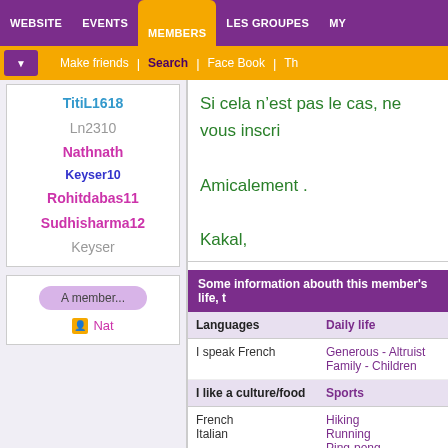WEBSITE | EVENTS | MEMBERS | LES GROUPES | MY
Make friends | Search | Face Book | Th
TitiL1618
Ln2310
Nathnath
Keyser10
Rohitdabas11
Sudhisharma12
Keyser
A member...
Nat
Si cela n’est pas le cas, ne vous inscri
Amicalement .
Kakal,
Some information abouth this member's life, t
| Languages | Daily life |
| --- | --- |
| I speak French | Generous - Altruist
Family - Children |
| I like a culture/food | Sports |
| French
Italian | Hiking
Running
Ping-pong
Tennis
Football - Soccer |